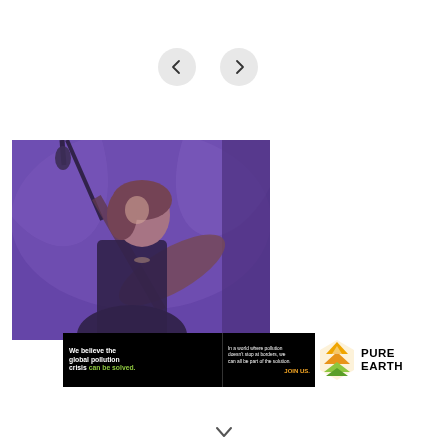[Figure (other): Left navigation arrow button (circular grey button with left arrow)]
[Figure (other): Right navigation arrow button (circular grey button with right arrow)]
[Figure (photo): Woman playing acoustic guitar and singing into a microphone on stage, under purple stage lighting, wearing a black outfit]
[Figure (other): Pure Earth advertisement banner: 'We believe the global pollution crisis can be solved.' with text 'In a world where pollution doesn't stop at borders, we can all be part of the solution. JOIN US.' and Pure Earth logo]
[Figure (other): Downward chevron/arrow icon at bottom center of page]